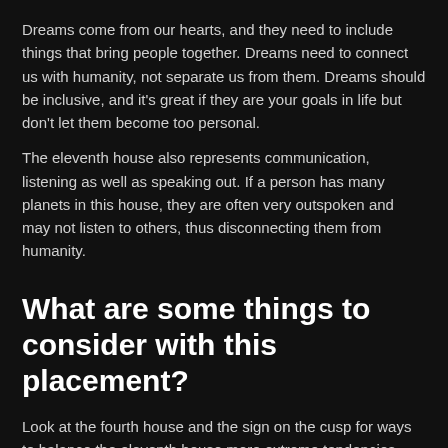Dreams come from our hearts, and they need to include things that bring people together. Dreams need to connect us with humanity, not separate us from them. Dreams should be inclusive, and it's great if they are your goals in life but don't let them become too personal.
The eleventh house also represents communication, listening as well as speaking out. If a person has many planets in this house, they are often very outspoken and may not listen to others, thus disconnecting them from humanity.
What are some things to consider with this placement?
Look at the fourth house and the sign on the cusp for ways to balance the eleventh house more extreme tendencies. There will be more balance if the fourth house is strong and there is support for the native's dreams.